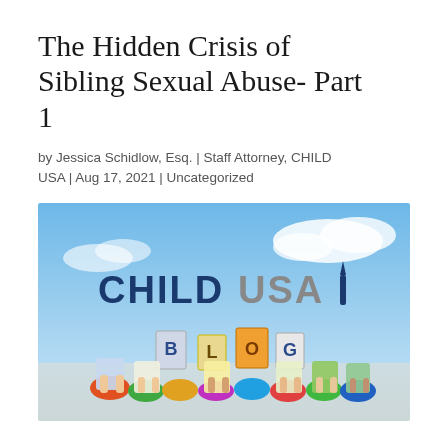The Hidden Crisis of Sibling Sexual Abuse- Part 1
by Jessica Schidlow, Esq. | Staff Attorney, CHILD USA | Aug 17, 2021 | Uncategorized
[Figure (photo): CHILD USA Blog banner image showing children lying on the ground holding colorful books in front of their faces, with a blue sky background and the CHILD USA BLOG logo overlaid.]